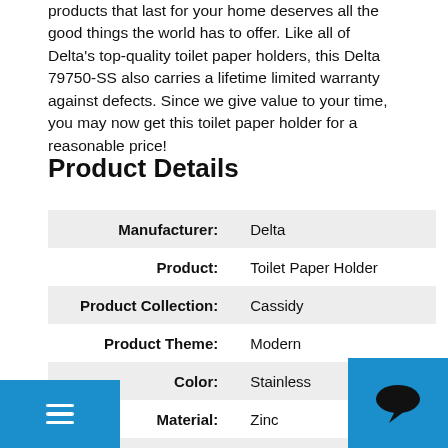products that last for your home deserves all the good things the world has to offer. Like all of Delta's top-quality toilet paper holders, this Delta 79750-SS also carries a lifetime limited warranty against defects. Since we give value to your time, you may now get this toilet paper holder for a reasonable price!
Product Details
|  |  |
| --- | --- |
| Manufacturer: | Delta |
| Product: | Toilet Paper Holder |
| Product Collection: | Cassidy |
| Product Theme: | Modern |
| Color: | Stainless |
| Material: | Zinc |
| Mount Type: | Wall Mount |